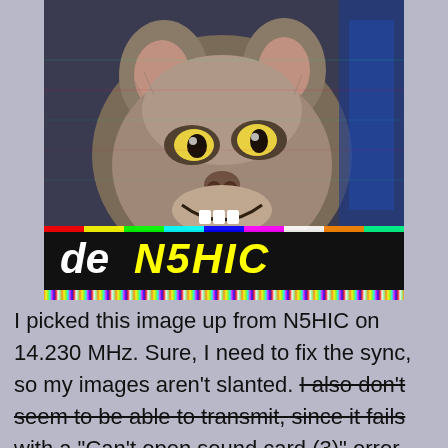[Figure (photo): SSTV (Slow Scan Television) received image showing the Gremlin creature 'Stripe' from the movie Gremlins. The image has typical SSTV artifacts including slant/skew distortion and noise. A black bar at the bottom shows the callsign 'de N5HIC' in yellow italic text. A top bar shows 'CO SSTV' on the left and 'PAUL' on the right in cyan text. There is a multicolored noise stripe near the bottom of the image and a rainbow noise bar at the very bottom.]
I picked this image up from N5HIC on 14.230 MHz. Sure, I need to fix the sync, so my images aren't slanted. I also don't seem to be able to transmit, since it fails with a "Can't open sound card (3)" error. But it's a start!